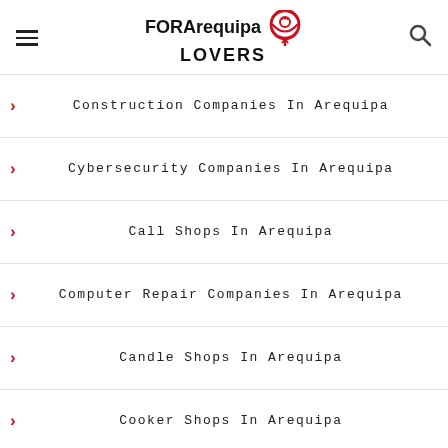FOR Arequipa LOVERS
Construction Companies In Arequipa
Cybersecurity Companies In Arequipa
Call Shops In Arequipa
Computer Repair Companies In Arequipa
Candle Shops In Arequipa
Cooker Shops In Arequipa
Craft Shops In Arequipa
Childcare Shops In Arequipa